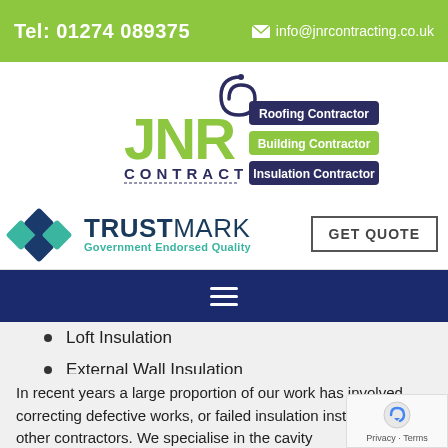Tel: 01274 089375   info@jnrcontracting.co.uk
[Figure (logo): JNR Contracting logo with spiral graphic, bold green JNR letters, and dark labels: Roofing Contractor, Building Contractor (green), Insulation Contractor]
[Figure (logo): TrustMark Government Endorsed Quality logo with teal geometric icon]
GET QUOTE
[Figure (other): Navy blue navigation bar with hamburger menu icon]
Loft Insulation
External Wall Insulation
Internal Wall Insulation
In recent years a large proportion of our work has involved correcting defective works, or failed insulation installed by other contractors. We specialise in the cavity